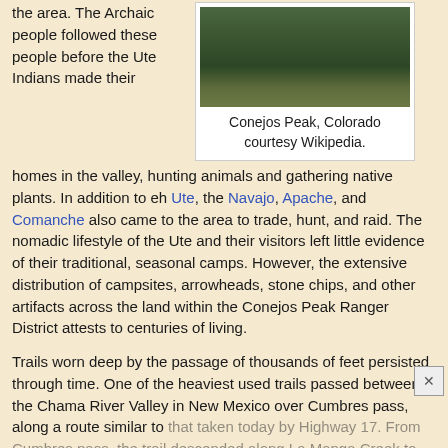the area. The Archaic people followed these people before the Ute Indians made their homes in the valley, hunting animals and gathering native plants. In addition to eh Ute, the Navajo, Apache, and Comanche also came to the area to trade, hunt, and raid. The nomadic lifestyle of the Ute and their visitors left little evidence of their traditional, seasonal camps. However, the extensive distribution of campsites, arrowheads, stone chips, and other artifacts across the land within the Conejos Peak Ranger District attests to centuries of living.
[Figure (photo): Photograph of Conejos Peak, Colorado showing forested mountain terrain]
Conejos Peak, Colorado courtesy Wikipedia.
Trails worn deep by the passage of thousands of feet persisted through time. One of the heaviest used trails passed between the Chama River Valley in New Mexico over Cumbres pass, along a route similar to that taken today by Highway 17. From Cumbres pass, the trail descended along La Manga Creek to the